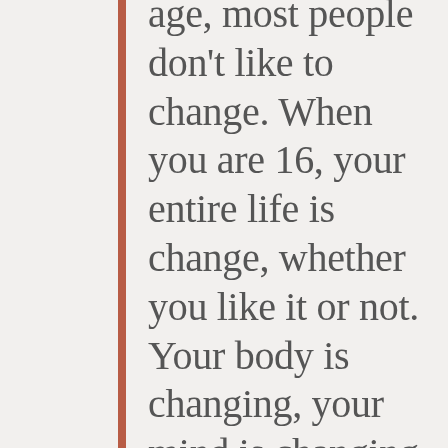age, most people don't like to change. When you are 16, your entire life is change, whether you like it or not. Your body is changing, your mind is changing, your